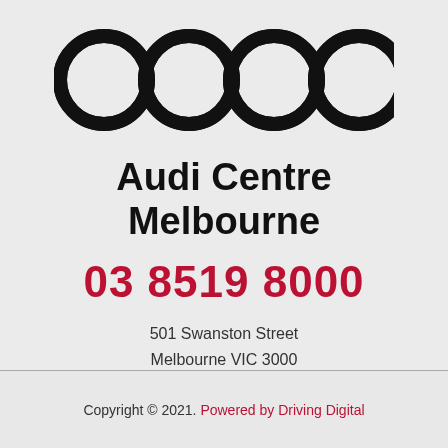[Figure (logo): Audi four-rings logo in black on light grey background]
Audi Centre Melbourne
03 8519 8000
501 Swanston Street
Melbourne VIC 3000
Copyright © 2021. Powered by Driving Digital